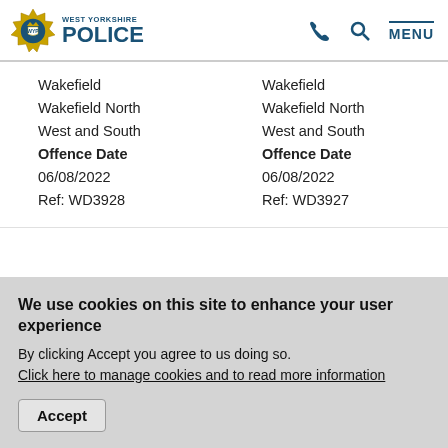West Yorkshire Police — navigation header with logo, phone icon, search icon, and MENU
| Wakefield
Wakefield North
West and South
Offence Date
06/08/2022
Ref: WD3928 | Wakefield
Wakefield North
West and South
Offence Date
06/08/2022
Ref: WD3927 |
We use cookies on this site to enhance your user experience
By clicking Accept you agree to us doing so. Click here to manage cookies and to read more information
Accept